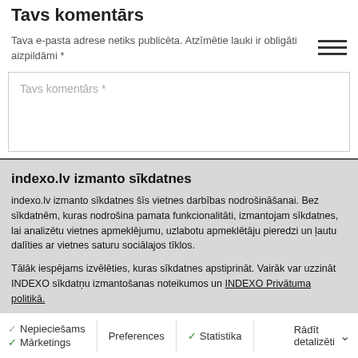Tavs komentārs
Tava e-pasta adrese netiks publicēta. Atzīmētie lauki ir obligāti aizpildāmi *
Tavs komentārs *
indexo.lv izmanto sīkdatnes
indexo.lv izmanto sīkdatnes šīs vietnes darbības nodrošināšanai. Bez sīkdatnēm, kuras nodrošina pamata funkcionalitāti, izmantojam sīkdatnes, lai analizētu vietnes apmeklējumu, uzlabotu apmeklētāju pieredzi un ļautu dalīties ar vietnes saturu sociālajos tīklos.
Tālāk iespējams izvēlēties, kuras sīkdatnes apstiprināt. Vairāk var uzzināt INDEXO sīkdatņu izmantošanas noteikumos un INDEXO Privātuma politikā.
Ļaut atlasi
Atļaut visas sīkdatnes
Nepieciešams  Preferences  Statistika  Mārketings  Rādīt detalizēti